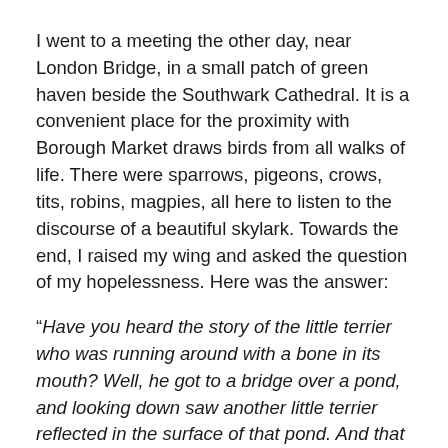I went to a meeting the other day, near London Bridge, in a small patch of green haven beside the Southwark Cathedral. It is a convenient place for the proximity with Borough Market draws birds from all walks of life. There were sparrows, pigeons, crows, tits, robins, magpies, all here to listen to the discourse of a beautiful skylark. Towards the end, I raised my wing and asked the question of my hopelessness. Here was the answer:
"Have you heard the story of the little terrier who was running around with a bone in its mouth? Well, he got to a bridge over a pond, and looking down saw another little terrier reflected in the surface of that pond. And that dog also had a bone in its mouth. Hungering for the other dog’s bone as well as the one he already had, our little doggie began to bark, and as he did, the bone he had been enjoying slipped from his mouth and fell into the stream, lost forever. Have a little chat with that terrier in you. Explain to him that in each moment, things are just as